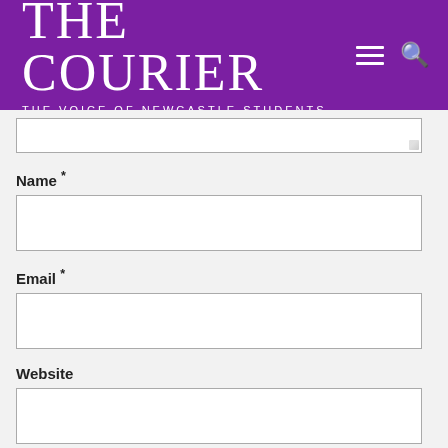THE COURIER — THE VOICE OF NEWCASTLE STUDENTS
[Figure (screenshot): Partial textarea input box (bottom portion visible)]
Name *
[Figure (screenshot): Name text input field]
Email *
[Figure (screenshot): Email text input field]
Website
[Figure (screenshot): Website text input field]
Save my name, email, and website in this browser for the next time I comment.